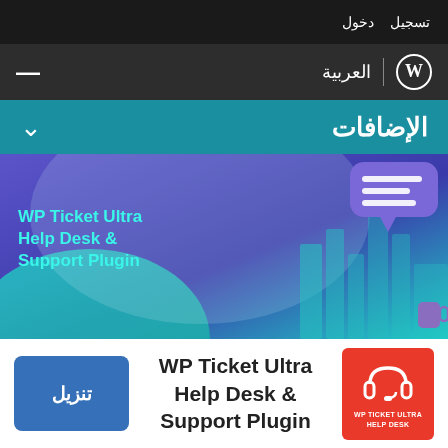تسجيل  دخول
[Figure (screenshot): WordPress navigation bar with hamburger menu on left, WordPress logo and Arabic language label العربية on right]
الإضافات
[Figure (illustration): WP Ticket Ultra Help Desk & Support Plugin banner with customer support agent illustration, speech bubble, and teal/purple gradient background]
WP Ticket Ultra Help Desk & Support Plugin
[Figure (logo): WP Ticket Ultra Help Desk red square icon with white headset graphic and text WP TICKET ULTRA HELP DESK]